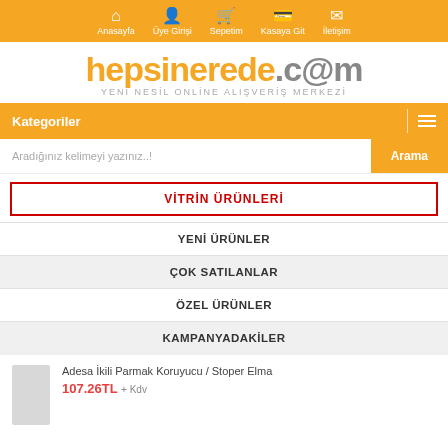[Figure (screenshot): Orange navigation bar with icons: Anasayfa, Üye Girişi, Sepetim, Kasaya Git, İletişim]
[Figure (logo): hepsinerede.cam logo with tagline YENİ NESİL ONLİNE ALIŞVERİŞ MERKEZİ]
Kategoriler
Aradığınız kelimeyi yazınız..!
VİTRİN ÜRÜNLERİ
YENİ ÜRÜNLER
ÇOK SATILANLAR
ÖZEL ÜRÜNLER
KAMPANYADAKİLER
Adesa İkili Parmak Koruyucu / Stoper Elma
107.26TL + Kdv